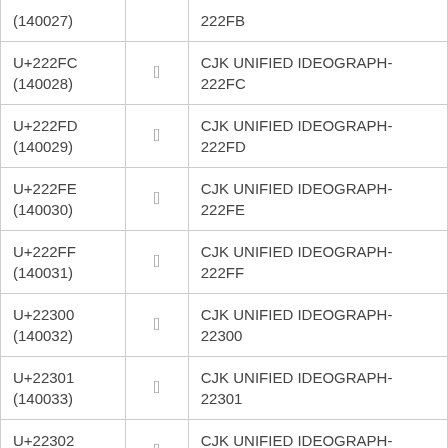| (140027) |  | 222FB |
| U+222FC
(140028) | 󢋼 | CJK UNIFIED IDEOGRAPH-222FC |
| U+222FD
(140029) | 󢋽 | CJK UNIFIED IDEOGRAPH-222FD |
| U+222FE
(140030) | 󢋾 | CJK UNIFIED IDEOGRAPH-222FE |
| U+222FF
(140031) | 󢋿 | CJK UNIFIED IDEOGRAPH-222FF |
| U+22300
(140032) | 󢌀 | CJK UNIFIED IDEOGRAPH-22300 |
| U+22301
(140033) | 󢌁 | CJK UNIFIED IDEOGRAPH-22301 |
| U+22302
(140034) | 󢌂 | CJK UNIFIED IDEOGRAPH-22302 |